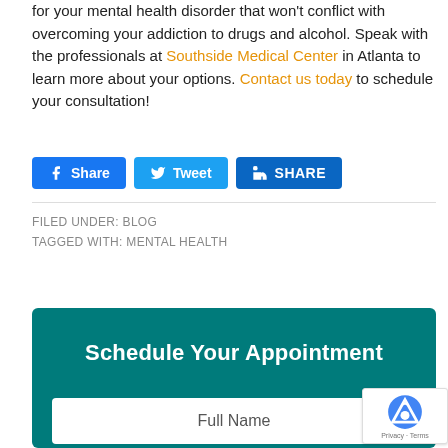for your mental health disorder that won't conflict with overcoming your addiction to drugs and alcohol. Speak with the professionals at Southside Medical Center in Atlanta to learn more about your options. Contact us today to schedule your consultation!
[Figure (other): Social share buttons: Facebook Share, Twitter Tweet, LinkedIn SHARE]
FILED UNDER: BLOG
TAGGED WITH: MENTAL HEALTH
Schedule Your Appointment
[Figure (other): Full Name form input field inside teal appointment box]
[Figure (other): reCAPTCHA badge overlay]